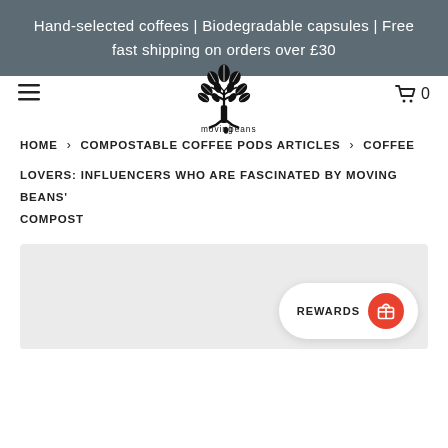Hand-selected coffees | Biodegradable capsules | Free fast shipping on orders over £30
[Figure (logo): Moving Beans logo — stylized tree made of coffee beans with text 'moving beans' underneath]
HOME > COMPOSTABLE COFFEE PODS ARTICLES > COFFEE LOVERS: INFLUENCERS WHO ARE FASCINATED BY MOVING BEANS' COMPOST
[Figure (photo): Hero image placeholder — light grey rectangle background]